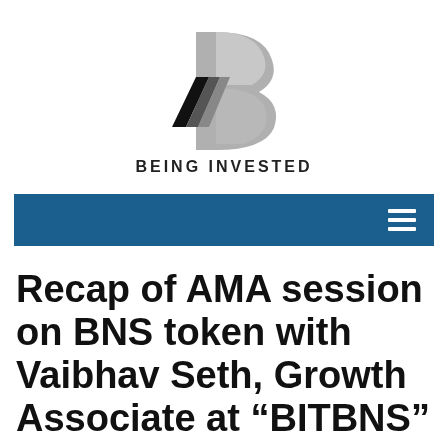[Figure (logo): Being Invested logo — stylized B with diagonal stripe marks in black and grey, above bold text 'BEING INVESTED']
[Figure (screenshot): Blue navigation bar with white hamburger menu icon on the right]
Recap of AMA session on BNS token with Vaibhav Seth, Growth Associate at “BITBNS”